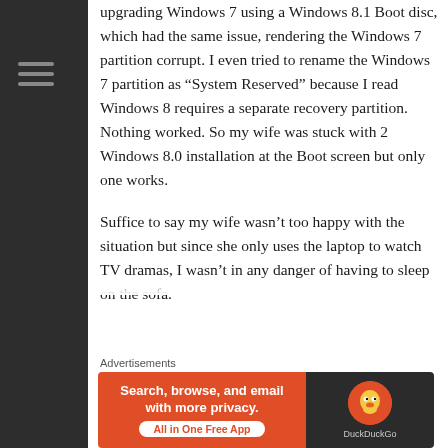upgrading Windows 7 using a Windows 8.1 Boot disc, which had the same issue, rendering the Windows 7 partition corrupt. I even tried to rename the Windows 7 partition as “System Reserved” because I read Windows 8 requires a separate recovery partition. Nothing worked. So my wife was stuck with 2 Windows 8.0 installation at the Boot screen but only one works.
Suffice to say my wife wasn’t too happy with the situation but since she only uses the laptop to watch TV dramas, I wasn’t in any danger of having to sleep on the sofa.
Advertisements
[Figure (screenshot): DuckDuckGo advertisement banner: orange left side with text 'Search, browse, and email with more privacy. All in One Free App', dark right side with DuckDuckGo duck logo and brand name.]